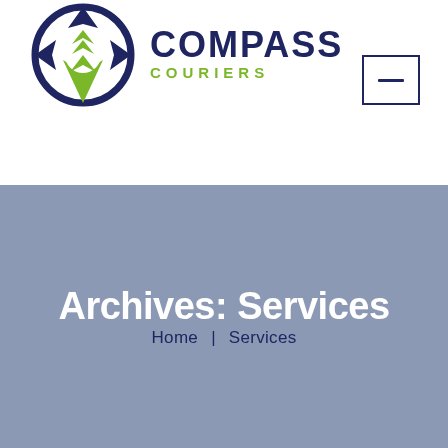[Figure (logo): Compass Couriers logo: circular compass rose with green arrow and dark navy ring, beside bold navy text COMPASS and green text COURIERS]
Archives: Services
Home | Services